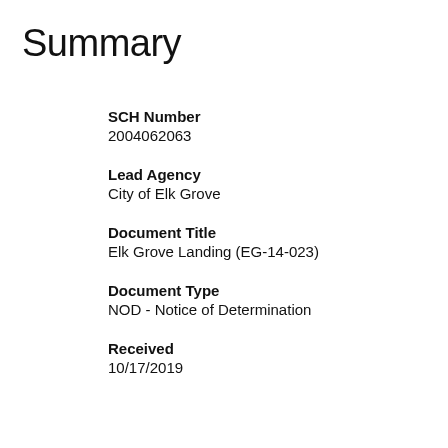Summary
SCH Number
2004062063
Lead Agency
City of Elk Grove
Document Title
Elk Grove Landing (EG-14-023)
Document Type
NOD - Notice of Determination
Received
10/17/2019